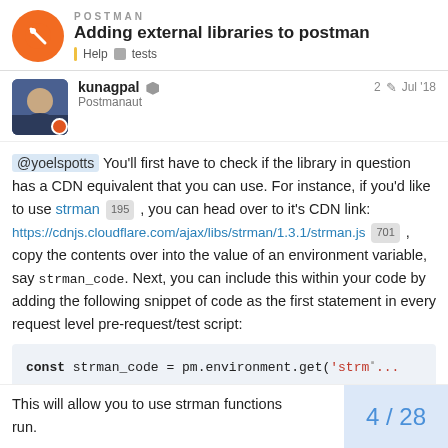Adding external libraries to postman
kunagpal Postmanaut 2 Jul '18
@yoelspotts You'll first have to check if the library in question has a CDN equivalent that you can use. For instance, if you'd like to use strman 195 , you can head over to it's CDN link: https://cdnjs.cloudflare.com/ajax/libs/strman/1.3.1/strman.js 701 , copy the contents over into the value of an environment variable, say strman_code. Next, you can include this within your code by adding the following snippet of code as the first statement in every request level pre-request/test script:
const strman_code = pm.environment.get('strm...
(new Function(strman_code))();
This will allow you to use strman functions run.
4 / 28